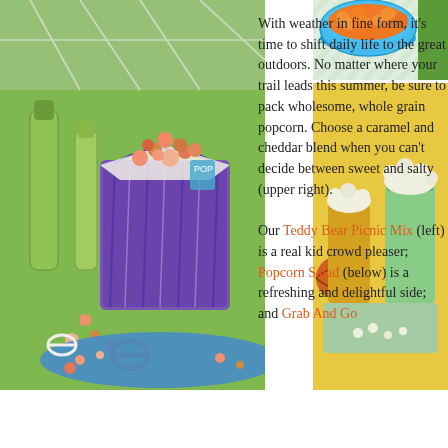[Figure (photo): Photo of a purple bucket filled with colorful popcorn mix including pretzels and candy, placed on a blue plate with green bottles in the background on a green surface]
[Figure (photo): Photo of a blue bowl filled with orange cheddar popcorn on a striped surface with grass in background (upper right)]
[Figure (photo): Photo of colorful cups filled with popcorn on a yellow surface with a basketball and napkins (lower right)]
With weather in fine form, it's time to shift daily life to the great outdoors. No matter where your trail leads this summer, be sure to pack wholesome, whole grain popcorn. Choose a caramel and cheddar blend when you can't decide between sweet and salty (upper right). Our Teddy Bear Picnic Mix (left) is a real kid crowd pleaser; Popcorn Salad (below) is a refreshing and delightful side; and Grab And Go